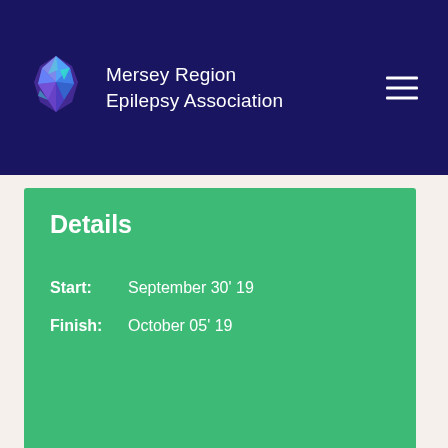Mersey Region Epilepsy Association
Details
Start: September 30' 19
Finish: October 05' 19
Organizer
Phone: +31 85 964 47 25
E-mail: helpo@gmail.com
Venue